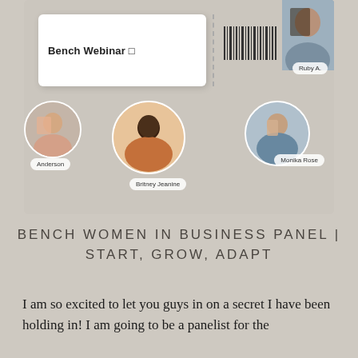[Figure (screenshot): Screenshot of a Bench Webinar promotional page showing a ticket/registration card with 'Bench Webinar' text and barcode, plus circular profile photos of panelists labeled Anderson, Britney Jeanine, Monika Rose, and Ruby A., on a beige background.]
BENCH WOMEN IN BUSINESS PANEL | START, GROW, ADAPT
I am so excited to let you guys in on a secret I have been holding in! I am going to be a panelist for the